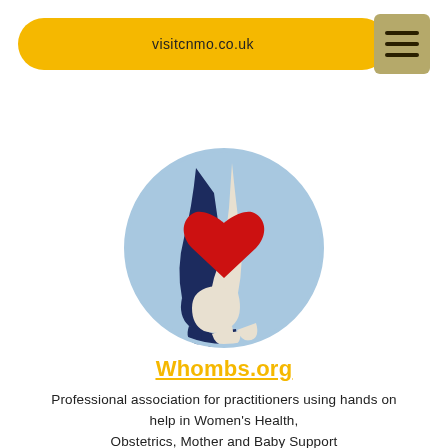visitcnmo.co.uk
[Figure (logo): Circular logo showing two hands (one dark navy, one white) holding a red heart, on a light blue circular background. Represents the Whombs.org professional association.]
Whombs.org
Professional association for practitioners using hands on help in Women's Health, Obstetrics, Mother and Baby Support